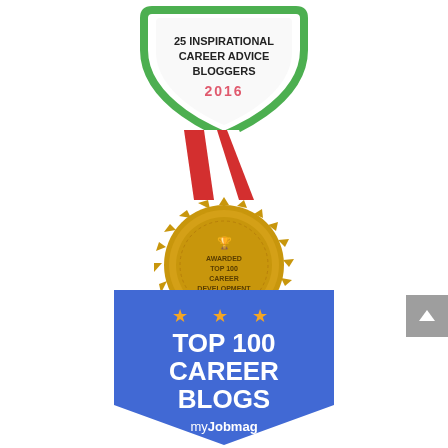[Figure (illustration): Badge reading '25 Inspirational Career Advice Bloggers 2016' with green shield border and red year text, partially cropped at top]
[Figure (illustration): Gold medal with red and white ribbon, text 'Awarded Top 100 Career Development Blog' on golden coin with serrated edge]
[Figure (illustration): Blue shield/banner badge with three orange stars and text 'TOP 100 CAREER BLOGS' in white bold text, 'myJobmag' in white at bottom]